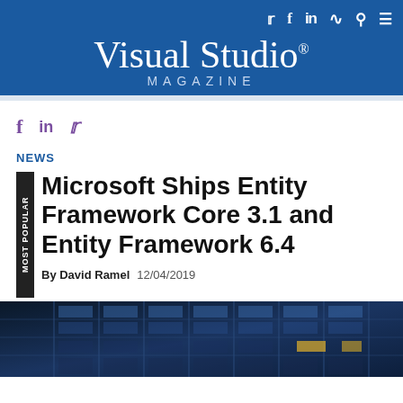Visual Studio MAGAZINE
NEWS
Microsoft Ships Entity Framework Core 3.1 and Entity Framework 6.4
By David Ramel  12/04/2019
[Figure (photo): Bottom portion of a dark blue building facade photograph]